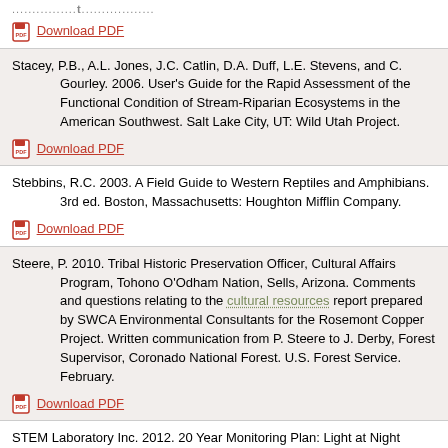Download PDF (partial, top of page)
Stacey, P.B., A.L. Jones, J.C. Catlin, D.A. Duff, L.E. Stevens, and C. Gourley. 2006. User's Guide for the Rapid Assessment of the Functional Condition of Stream-Riparian Ecosystems in the American Southwest. Salt Lake City, UT: Wild Utah Project. Download PDF
Stebbins, R.C. 2003. A Field Guide to Western Reptiles and Amphibians. 3rd ed. Boston, Massachusetts: Houghton Mifflin Company. Download PDF
Steere, P. 2010. Tribal Historic Preservation Officer, Cultural Affairs Program, Tohono O'Odham Nation, Sells, Arizona. Comments and questions relating to the cultural resources report prepared by SWCA Environmental Consultants for the Rosemont Copper Project. Written communication from P. Steere to J. Derby, Forest Supervisor, Coronado National Forest. U.S. Forest Service. February. Download PDF
STEM Laboratory Inc. 2012. 20 Year Monitoring Plan: Light at Night (LAN) Measurements at Rosemont Copper Project. Submitted to Monrad Engineering Inc. for the Rosemont Copper Project. Tucson, AZ: STEM Laboratory Inc. May 20.